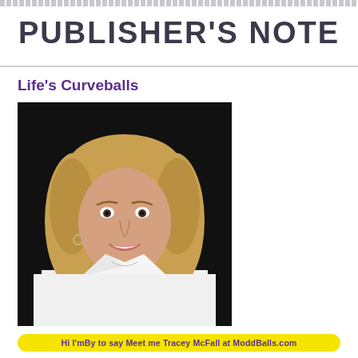PUBLISHER'S NOTE
Life's Curveballs
[Figure (photo): Professional headshot of a woman with shoulder-length blonde hair, wearing a white shirt, smiling, against a dark background]
Hi I'mBy to say Meet me Tracey McFall at ModdBalls.com